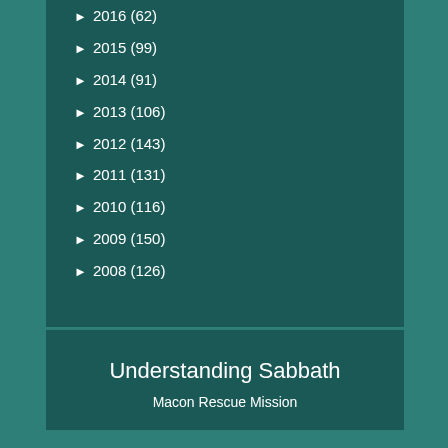► 2016 (62)
► 2015 (99)
► 2014 (91)
► 2013 (106)
► 2012 (143)
► 2011 (131)
► 2010 (116)
► 2009 (150)
► 2008 (126)
Understanding Sabbath
Macon Rescue Mission